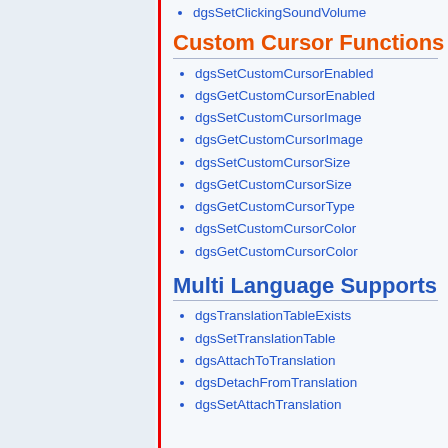dgsSetClickingSoundVolume
Custom Cursor Functions
dgsSetCustomCursorEnabled
dgsGetCustomCursorEnabled
dgsSetCustomCursorImage
dgsGetCustomCursorImage
dgsSetCustomCursorSize
dgsGetCustomCursorSize
dgsGetCustomCursorType
dgsSetCustomCursorColor
dgsGetCustomCursorColor
Multi Language Supports
dgsTranslationTableExists
dgsSetTranslationTable
dgsAttachToTranslation
dgsDetachFromTranslation
dgsSetAttachTranslation